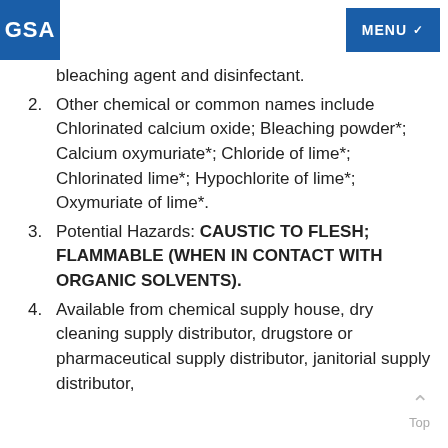GSA | MENU
bleaching agent and disinfectant.
2. Other chemical or common names include Chlorinated calcium oxide; Bleaching powder*; Calcium oxymuriate*; Chloride of lime*; Chlorinated lime*; Hypochlorite of lime*; Oxymuriate of lime*.
3. Potential Hazards: CAUSTIC TO FLESH; FLAMMABLE (WHEN IN CONTACT WITH ORGANIC SOLVENTS).
4. Available from chemical supply house, dry cleaning supply distributor, drugstore or pharmaceutical supply distributor, janitorial supply distributor,